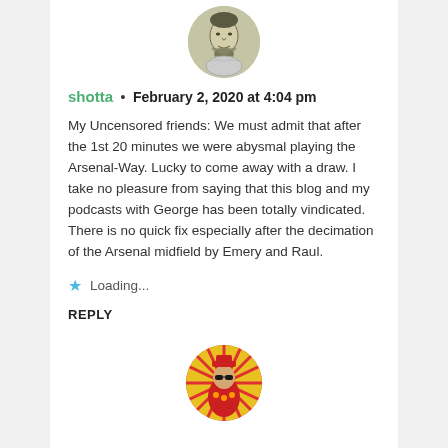[Figure (photo): Circular avatar image of a sketched portrait of a man, grayscale illustration style, positioned at top center]
shotta • February 2, 2020 at 4:04 pm
My Uncensored friends: We must admit that after the 1st 20 minutes we were abysmal playing the Arsenal-Way. Lucky to come away with a draw. I take no pleasure from saying that this blog and my podcasts with George has been totally vindicated. There is no quick fix especially after the decimation of the Arsenal midfield by Emery and Raul.
Loading...
REPLY
[Figure (photo): Circular avatar image of a colorful illustrated character dressed in red and yellow with a hat, positioned at bottom center]